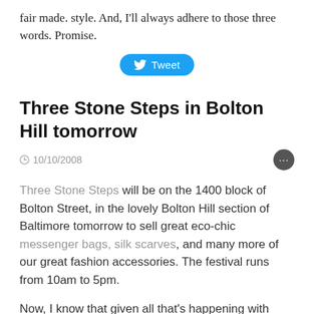fair made. style. And, I'll always adhere to those three words. Promise.
[Figure (other): Twitter Tweet button (blue pill-shaped button with bird icon and 'Tweet' text)]
Three Stone Steps in Bolton Hill tomorrow
🕐 10/10/2008
Three Stone Steps will be on the 1400 block of Bolton Street, in the lovely Bolton Hill section of Baltimore tomorrow to sell great eco-chic messenger bags, silk scarves, and many more of our great fashion accessories. The festival runs from 10am to 5pm.
Now, I know that given all that's happening with